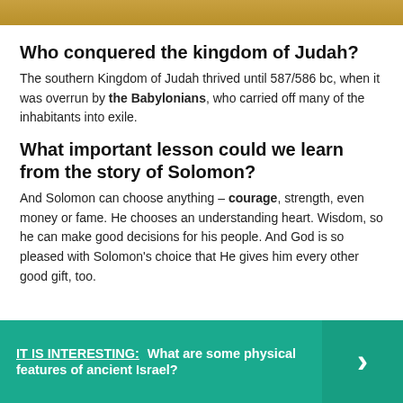[Figure (photo): Partial image strip at top of page showing a scene with warm golden/brown tones]
Who conquered the kingdom of Judah?
The southern Kingdom of Judah thrived until 587/586 bc, when it was overrun by the Babylonians, who carried off many of the inhabitants into exile.
What important lesson could we learn from the story of Solomon?
And Solomon can choose anything – courage, strength, even money or fame. He chooses an understanding heart. Wisdom, so he can make good decisions for his people. And God is so pleased with Solomon's choice that He gives him every other good gift, too.
IT IS INTERESTING:  What are some physical features of ancient Israel?